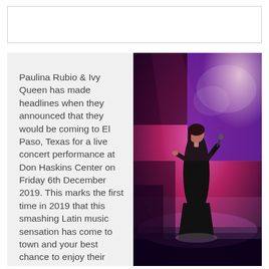[Figure (photo): Empty white box at top of page, likely an ad or header image placeholder]
[Figure (photo): Concert photo of a female singer in a black gown performing on stage with pink/purple stage lighting and a large LED screen backdrop, holding a microphone]
Paulina Rubio & Ivy Queen has made headlines when they announced that they would be coming to El Paso, Texas for a live concert performance at Don Haskins Center on Friday 6th December 2019. This marks the first time in 2019 that this smashing Latin music sensation has come to town and your best chance to enjoy their